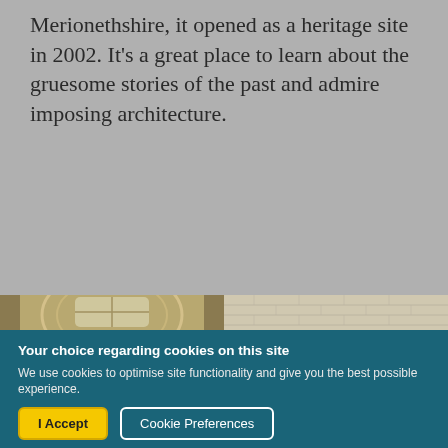Merionethshire, it opened as a heritage site in 2002. It's a great place to learn about the gruesome stories of the past and admire imposing architecture.
[Figure (photo): Interior architectural photo of a prison or heritage building showing vaulted ceiling with skylight and metal railings on galleries]
[Figure (photo): Interior photo of a plain white brick wall room, possibly a prison cell]
Your choice regarding cookies on this site
We use cookies to optimise site functionality and give you the best possible experience.
I Accept   Cookie Preferences